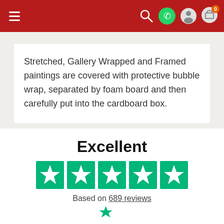Navigation bar with hamburger menu and icons
Stretched, Gallery Wrapped and Framed paintings are covered with protective bubble wrap, separated by foam board and then carefully put into the cardboard box.
Excellent
[Figure (other): Five green star rating boxes (Trustpilot style) in a row]
Based on 689 reviews